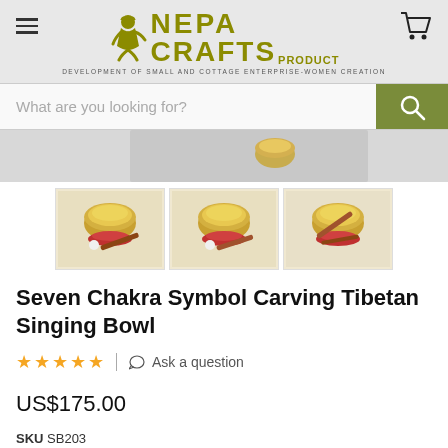[Figure (logo): Nepa Crafts Product logo with seated figure and olive/gold text. Subtitle: DEVELOPMENT OF SMALL AND COTTAGE ENTERPRISE-WOMEN CREATION]
[Figure (screenshot): Search bar with placeholder 'What are you looking for?' and olive/green search button with magnifying glass icon]
[Figure (photo): Three thumbnail photos of a golden Tibetan singing bowl with red cushion and wooden mallet, shown from different angles]
Seven Chakra Symbol Carving Tibetan Singing Bowl
☆☆☆☆☆  |  Ask a question
US$175.00
SKU SB203